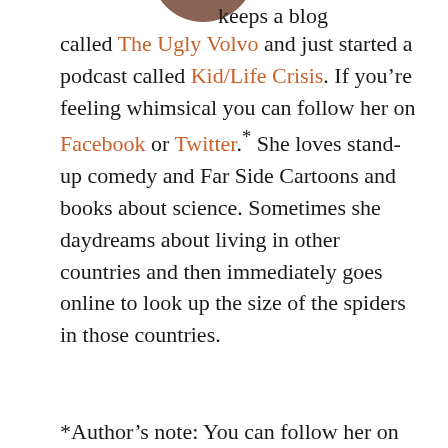[Figure (photo): Partial photo of a person at the top of the page]
keeps a blog called The Ugly Volvo and just started a podcast called Kid/Life Crisis. If you’re feeling whimsical you can follow her on Facebook or Twitter.* She loves stand-up comedy and Far Side Cartoons and books about science. Sometimes she daydreams about living in other countries and then immediately goes online to look up the size of the spiders in those countries.
*Author’s note: You can follow her on